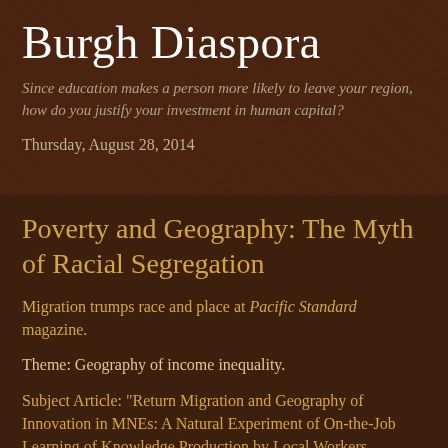Burgh Diaspora
Since education makes a person more likely to leave your region, how do you justify your investment in human capital?
Thursday, August 28, 2014
Poverty and Geography: The Myth of Racial Segregation
Migration trumps race and place at Pacific Standard magazine.
Theme: Geography of income inequality.
Subject Article: "Return Migration and Geography of Innovation in MNEs: A Natural Experiment of On-the-Job Learning of Knowledge Production by Local Workers Reporting to Return Migrants."